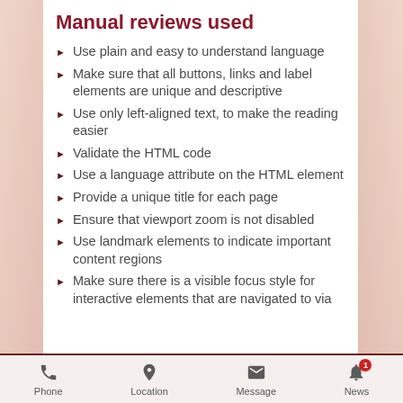Manual reviews used
Use plain and easy to understand language
Make sure that all buttons, links and label elements are unique and descriptive
Use only left-aligned text, to make the reading easier
Validate the HTML code
Use a language attribute on the HTML element
Provide a unique title for each page
Ensure that viewport zoom is not disabled
Use landmark elements to indicate important content regions
Make sure there is a visible focus style for interactive elements that are navigated to via
Phone | Location | Message | News